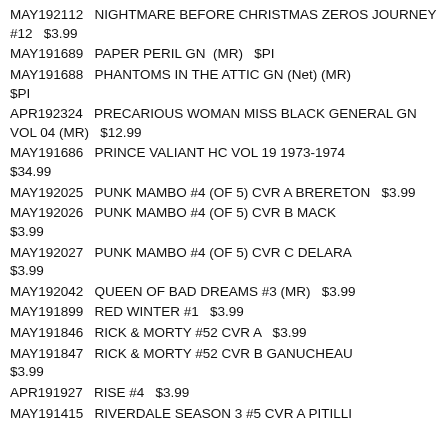MAY192112   NIGHTMARE BEFORE CHRISTMAS ZEROS JOURNEY #12   $3.99
MAY191689   PAPER PERIL GN  (MR)   $PI
MAY191688   PHANTOMS IN THE ATTIC GN (Net) (MR)   $PI
APR192324   PRECARIOUS WOMAN MISS BLACK GENERAL GN VOL 04 (MR)   $12.99
MAY191686   PRINCE VALIANT HC VOL 19 1973-1974   $34.99
MAY192025   PUNK MAMBO #4 (OF 5) CVR A BRERETON   $3.99
MAY192026   PUNK MAMBO #4 (OF 5) CVR B MACK   $3.99
MAY192027   PUNK MAMBO #4 (OF 5) CVR C DELARA   $3.99
MAY192042   QUEEN OF BAD DREAMS #3 (MR)   $3.99
MAY191899   RED WINTER #1   $3.99
MAY191846   RICK & MORTY #52 CVR A   $3.99
MAY191847   RICK & MORTY #52 CVR B GANUCHEAU   $3.99
APR191927   RISE #4   $3.99
MAY191415   RIVERDALE SEASON 3 #5 CVR A PITILLI